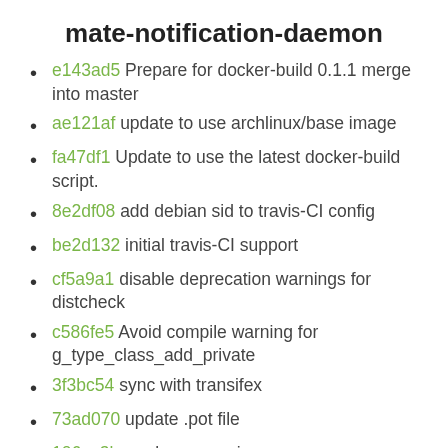mate-notification-daemon
e143ad5 Prepare for docker-build 0.1.1 merge into master
ae121af update to use archlinux/base image
fa47df1 Update to use the latest docker-build script.
8e2df08 add debian sid to travis-CI config
be2d132 initial travis-CI support
cf5a9a1 disable deprecation warnings for distcheck
c586fe5 Avoid compile warning for g_type_class_add_private
3f3bc54 sync with transifex
73ad070 update .pot file
106ec3b pre-bump version
8217f2d Drop dbus-glib dependence
dccffbc Use GVariant